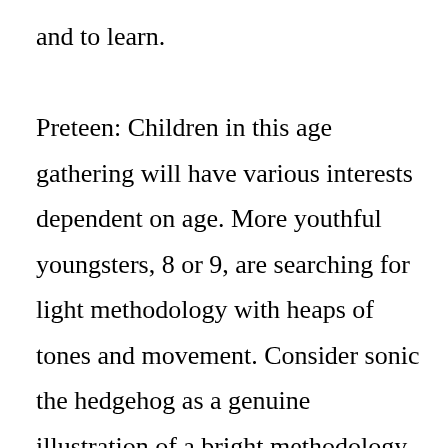and to learn.

Preteen: Children in this age gathering will have various interests dependent on age. More youthful youngsters, 8 or 9, are searching for light methodology with heaps of tones and movement. Consider sonic the hedgehog as a genuine illustration of a bright methodology game. Math games are extraordinary for this age bunch. As your youngster gets more established they will be searching for more activity-advanced...